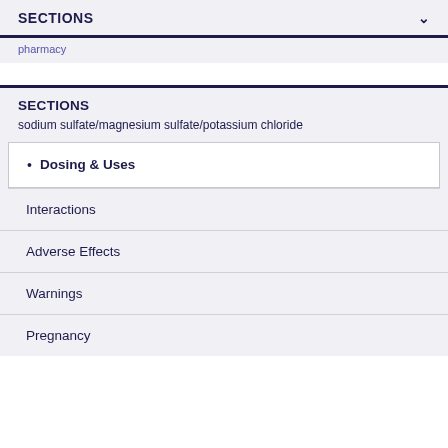SECTIONS
sodium sulfate/magnesium sulfate/potassium chloride
Dosing & Uses
Interactions
Adverse Effects
Warnings
Pregnancy